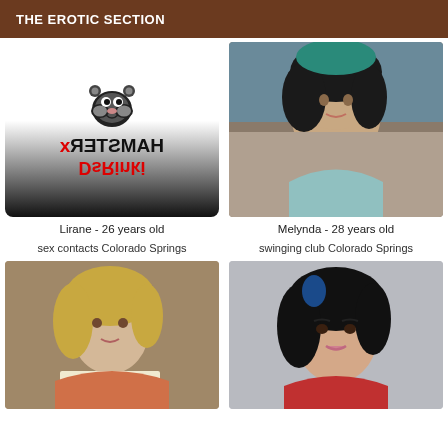THE EROTIC SECTION
[Figure (logo): XHamster DsRinki logo with mirrored/flipped text on dark background]
[Figure (photo): Young woman with dark curly hair, selfie-style photo]
Lirane - 26 years old
Melynda - 28 years old
sex contacts Colorado Springs
swinging club Colorado Springs
[Figure (photo): Young blonde woman holding a sign]
[Figure (photo): Woman with dark hair and blue highlights, glamour photo]